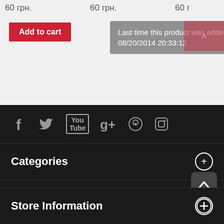60 грн.   60 грн.   60 г
Add to cart
Last time this product was added to a cart: 08/20/2014 20:33:12
[Figure (infographic): Social media icons: Facebook, Twitter, YouTube, Google+, Pinterest, Instagram]
Categories
Information
[Figure (logo): Globe logo icon and ShopMania store badge with rating bar showing 2]
My account
Store Information